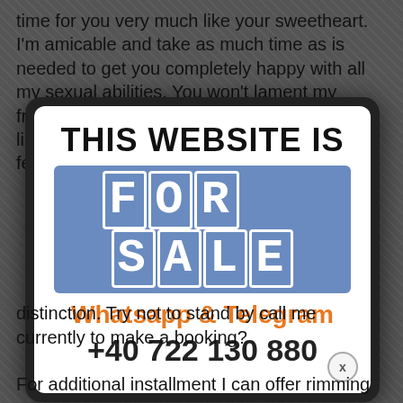time for you very much like your sweetheart. I'm amicable and take as much time as is needed to get you completely happy with all my sexual abilities. You won't lament my friendship, I am brimming with appeal, and liberal to share whatever would cause you to feel brilliant.
[Figure (other): A modal popup advertisement overlay with dark rounded border. Contains text 'THIS WEBSITE IS FOR SALE' with 'FOR SALE' in white letters on blue background. Below: 'Whatsapp & Telegram' in orange, '+40 722 130 880' in dark, and a close button (x).]
distinction. Try not to stand by call me currently to make a booking?
For additional installment I can offer rimming